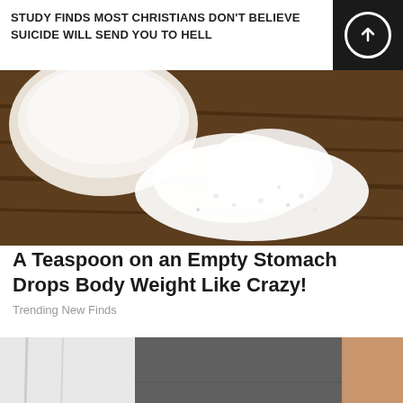STUDY FINDS MOST CHRISTIANS DON'T BELIEVE SUICIDE WILL SEND YOU TO HELL
[Figure (photo): Close-up of a white bowl with white powder (sugar or salt) spilled on a dark wooden surface]
A Teaspoon on an Empty Stomach Drops Body Weight Like Crazy!
Trending New Finds
[Figure (photo): Close-up of person's feet wearing white slip-on sneakers with brown/tan accents and perforated design, with white jeans, on dark pavement]